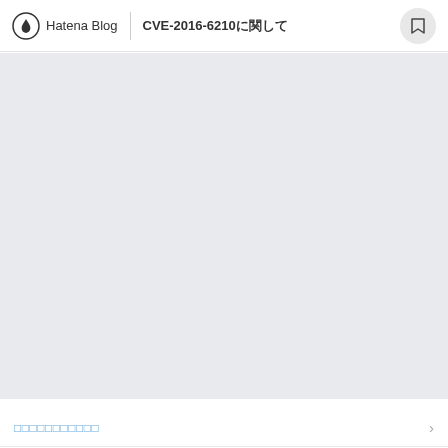Hatena Blog | CVE-2016-6210
[Figure (other): Large grey rectangle representing the main content/image area of the blog post]
□□□□□□□□□□□
□□□□□□□□